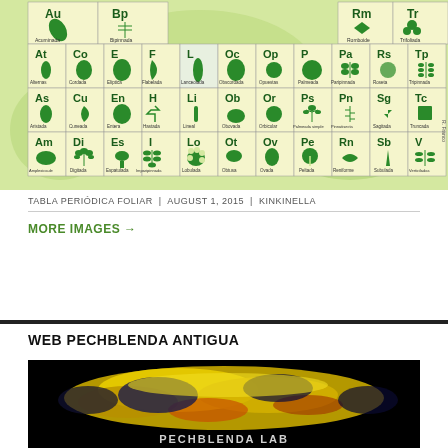[Figure (table-as-image): Tabla Periódica Foliar - a periodic table style chart showing leaf shapes with their botanical abbreviations and Spanish names. Rows include Au/Bp/Rm/Tr, At/Co/E/F/L/Oc/Op/P/Pa/Rs/Tp, As/Cu/En/H/Li/Ob/Or/Ps/Pn/Sg/Tc, Am/Di/Es/I/Lo/Ot/Ov/Pe/Rn/Sb/V with corresponding leaf shape illustrations and names like Acuminada, Bipinnada, Romboide, Trifoliada, Alternas, Cordada, Elíptica, Flabelada, Lanceolada, Obscordada, Opuestas, Palmeada, Paripinnada, Roseta, Tripinnada, Aristada, Cuneada, Entera, Hastada, Lineal, Obovada, Orbicular, Palmeada simple, Pinnatisecta, Sagitada, Truncada, Amplexicaule, Digitada, Espatulada, Imparipinnada, Lobulada, Obtusa, Ovada, Peltada, Reniforme, Subulada, Verticiladas]
TABLA PERIÓDICA FOLIAR | AUGUST 1, 2015 | KINKINELLA
MORE IMAGES →
WEB PECHBLENDA ANTIGUA
[Figure (photo): Close-up photograph of pitchblende (uraninite) mineral specimen showing bright yellow, orange and dark blue-black mineral formations on a black background. Text 'PECHBLENDA LAB' partially visible at bottom.]